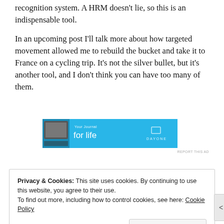recognition system. A HRM doesn't lie, so this is an indispensable tool.
In an upcoming post I'll talk more about how targeted movement allowed me to rebuild the bucket and take it to France on a cycling trip. It's not the silver bullet, but it's another tool, and I don't think you can have too many of them.
[Figure (other): Advertisement banner for Day One app — 'Your Journal for life' with cyan/blue background and app screenshot]
Privacy & Cookies: This site uses cookies. By continuing to use this website, you agree to their use.
To find out more, including how to control cookies, see here: Cookie Policy
Close and accept